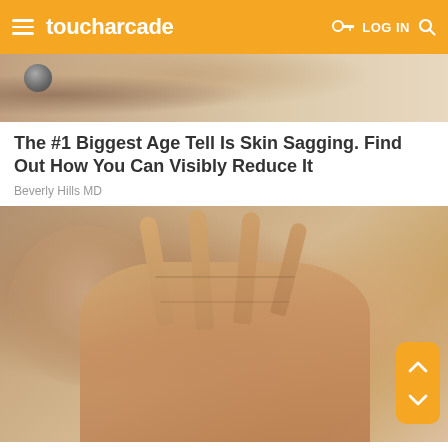toucharcade — LOG IN
[Figure (photo): Close-up photo of skin/face area, partial view at top]
The #1 Biggest Age Tell Is Skin Sagging. Find Out How You Can Visibly Reduce It
Beverly Hills MD
[Figure (photo): Elderly woman holding up her hand toward camera showing aging skin and wrinkles on fingers, blurred face in background. Orange scroll widget with up/down arrows in bottom right corner.]